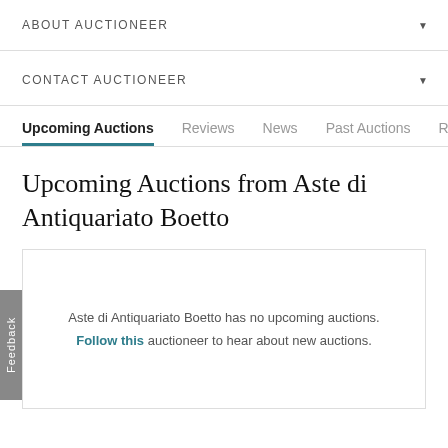ABOUT AUCTIONEER
CONTACT AUCTIONEER
Upcoming Auctions | Reviews | News | Past Auctions | Re
Upcoming Auctions from Aste di Antiquariato Boetto
Aste di Antiquariato Boetto has no upcoming auctions. Follow this auctioneer to hear about new auctions.